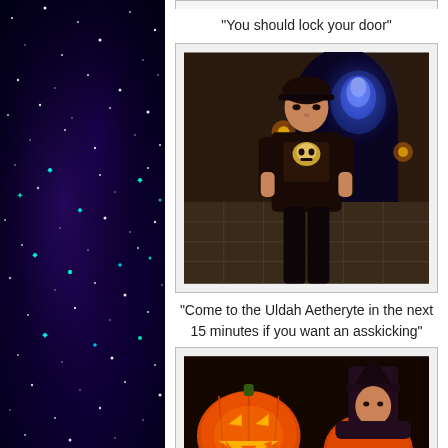[Figure (photo): Night sky with stars background, deep space purple and black tones]
"You should lock your door"
[Figure (screenshot): Video game screenshot showing a female character in dark clothing with a skull emblem, standing in a stone corridor with blue glowing aetheryte crystal in background]
"Come to the Uldah Aetheryte in the next 15 minutes if you want an asskicking"
[Figure (screenshot): Video game screenshot showing a character in witch hat next to large glowing jack-o-lanterns in dark setting]